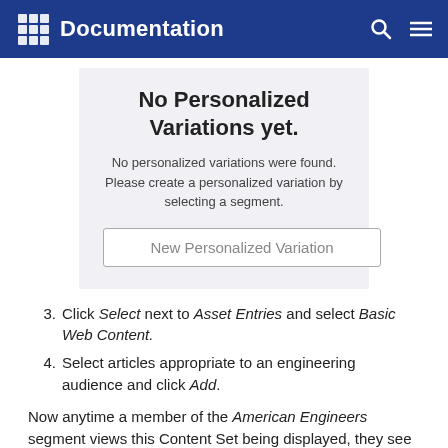Documentation
[Figure (screenshot): Screenshot of 'No Personalized Variations yet.' UI panel with a 'New Personalized Variation' button]
Click Select next to Asset Entries and select Basic Web Content.
Select articles appropriate to an engineering audience and click Add.
Now anytime a member of the American Engineers segment views this Content Set being displayed, they see the